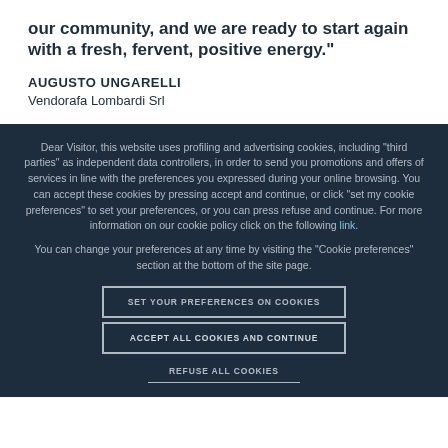our community, and we are ready to start again with a fresh, fervent, positive energy."
AUGUSTO UNGARELLI
Vendorafa Lombardi Srl
Dear Visitor, this website uses profiling and advertising cookies, including "third parties" as independent data controllers, in order to send you promotions and offers of services in line with the preferences you expressed during your online browsing. You can accept these cookies by pressing accept and continue, or click "set my cookie preferences" to set your preferences, or you can press refuse and continue. For more information on our cookie policy click on the following link. You can change your preferences at any time by visiting the "Cookie preferences" section at the bottom of the site page.
SET YOUR PREFERENCES ON COOKIES
ACCEPT ALL COOKIES AND CONTINUE
REFUSE ALL COOKIES